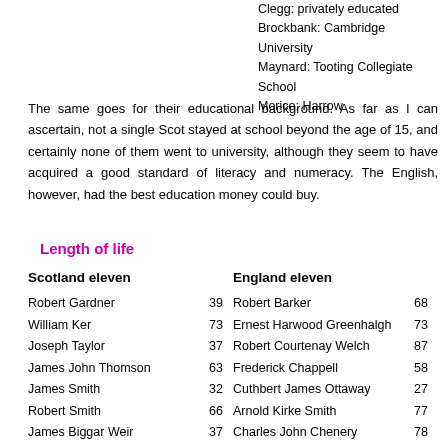Clegg: privately educated
Brockbank: Cambridge University
Maynard: Tooting Collegiate School
Morice: Harrow
The same goes for their educational background. As far as I can ascertain, not a single Scot stayed at school beyond the age of 15, and certainly none of them went to university, although they seem to have acquired a good standard of literacy and numeracy. The English, however, had the best education money could buy.
Length of life
| Scotland eleven |  | England eleven |  |
| --- | --- | --- | --- |
| Robert Gardner | 39 | Robert Barker | 68 |
| William Ker | 73 | Ernest Harwood Greenhalgh | 73 |
| Joseph Taylor | 37 | Robert Courtenay Welch | 87 |
| James John Thomson | 63 | Frederick Chappell | 58 |
| James Smith | 32 | Cuthbert James Ottaway | 27 |
| Robert Smith | 66 | Arnold Kirke Smith | 77 |
| James Biggar Weir | 37 | Charles John Chenery | 78 |
| Robert Leckie | 40 | John Charles Clegg | 87 |
| Alexander Rhind | 74 | John Brockbank | 47 |
| William Muir Mackinnon | 90 | William John Maynard | 68 |
| David Wotherspoon | 56 | Charles John Morice | 82 |